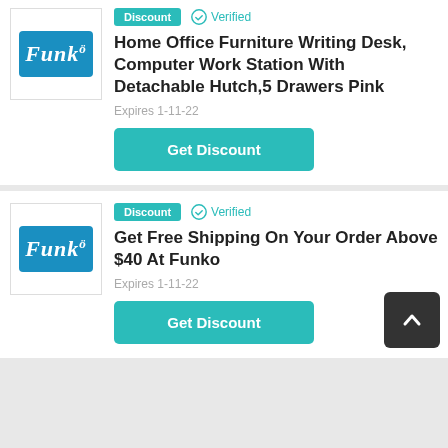[Figure (logo): Funko logo in blue rounded rectangle]
Discount  ✓ Verified
Home Office Furniture Writing Desk, Computer Work Station With Detachable Hutch,5 Drawers Pink
Expires 1-11-22
Get Discount
[Figure (logo): Funko logo in blue rounded rectangle]
Discount  ✓ Verified
Get Free Shipping On Your Order Above $40 At Funko
Expires 1-11-22
Get Discount